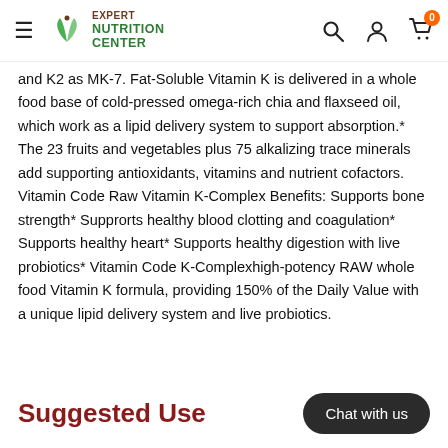Expert Nutrition Center
and K2 as MK-7. Fat-Soluble Vitamin K is delivered in a whole food base of cold-pressed omega-rich chia and flaxseed oil, which work as a lipid delivery system to support absorption.* The 23 fruits and vegetables plus 75 alkalizing trace minerals add supporting antioxidants, vitamins and nutrient cofactors. Vitamin Code Raw Vitamin K-Complex Benefits: Supports bone strength* Supprorts healthy blood clotting and coagulation* Supports healthy heart* Supports healthy digestion with live probiotics* Vitamin Code K-Complexhigh-potency RAW whole food Vitamin K formula, providing 150% of the Daily Value with a unique lipid delivery system and live probiotics.
Suggested Use